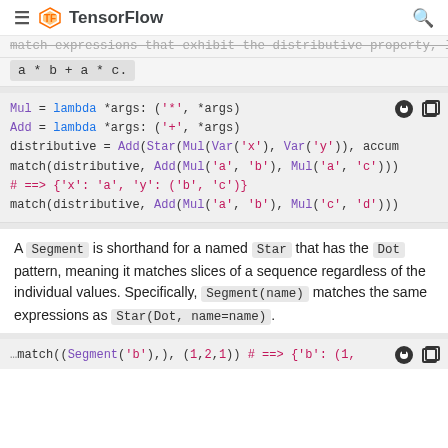TensorFlow
match expressions that exhibit the distributive property, like a * b + a * c.
[Figure (screenshot): Code block showing Python code: Mul = lambda *args: ('*', *args), Add = lambda *args: ('+', *args), distributive = Add(Star(Mul(Var('x'), Var('y')), accum..., match(distributive, Add(Mul('a', 'b'), Mul('a', 'c')))), # ==> {'x': 'a', 'y': ('b', 'c')}, match(distributive, Add(Mul('a', 'b'), Mul('c', 'd')))]
A Segment is shorthand for a named Star that has the Dot pattern, meaning it matches slices of a sequence regardless of the individual values. Specifically, Segment(name) matches the same expressions as Star(Dot, name=name).
[Figure (screenshot): Bottom partial code block showing more match examples]